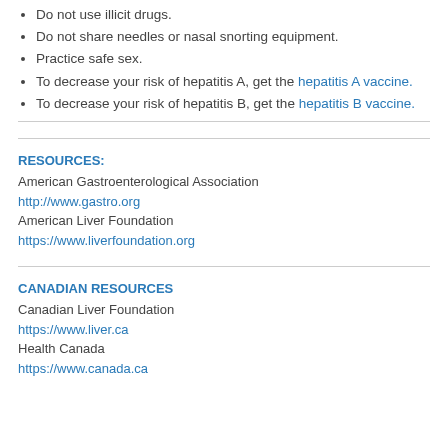Do not use illicit drugs.
Do not share needles or nasal snorting equipment.
Practice safe sex.
To decrease your risk of hepatitis A, get the hepatitis A vaccine.
To decrease your risk of hepatitis B, get the hepatitis B vaccine.
RESOURCES:
American Gastroenterological Association
http://www.gastro.org
American Liver Foundation
https://www.liverfoundation.org
CANADIAN RESOURCES
Canadian Liver Foundation
https://www.liver.ca
Health Canada
https://www.canada.ca